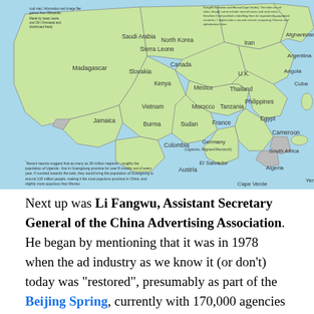[Figure (map): A stylized map of China showing provinces labeled with countries/regions of equivalent population size. Green provinces are labeled with country names like North Korea, Madagascar, Saudi Arabia, Slovakia, Jamaica, Vietnam, Kenya, Morocco, Sudan, Colombia, Burma, Germany, Austria, Philippines, Mexico, Thailand, Cameroon, Egypt, U.K., France, Tanzania, Algeria, South Africa, Canada, Sierra Leone, Iran, Angola, Argentina, Afghanistan, Cuba, Yemen, El Salvador, Cape Verde. Footnote text in bottom-left about migrants in Guangdong province. Small legend text in top-left corner.]
Next up was Li Fangwu, Assistant Secretary General of the China Advertising Association. He began by mentioning that it was in 1978 when the ad industry as we know it (or don't) today was "restored", presumably as part of the Beijing Spring, currently with 170,000 agencies